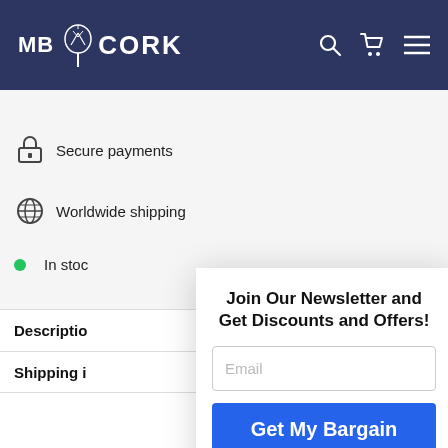MB CORK
Secure payments
Worldwide shipping
In stock
Join Our Newsletter and Get Discounts and Offers!
Email
Get My Bargain
Description
Shipping i
(Doesn't apply to cork fabrics, products that are already on sale and with other ongoing promotions or discount codes.)